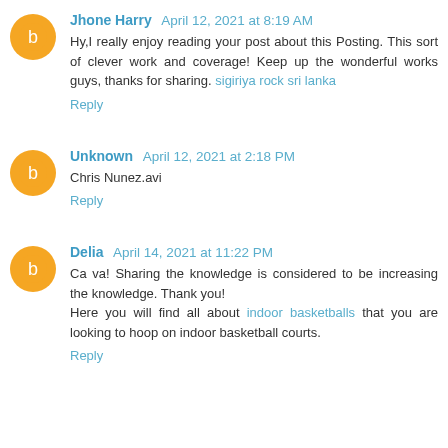Jhone Harry April 12, 2021 at 8:19 AM
Hy,I really enjoy reading your post about this Posting. This sort of clever work and coverage! Keep up the wonderful works guys, thanks for sharing. sigiriya rock sri lanka
Reply
Unknown April 12, 2021 at 2:18 PM
Chris Nunez.avi
Reply
Delia April 14, 2021 at 11:22 PM
Ca va! Sharing the knowledge is considered to be increasing the knowledge. Thank you! Here you will find all about indoor basketballs that you are looking to hoop on indoor basketball courts.
Reply